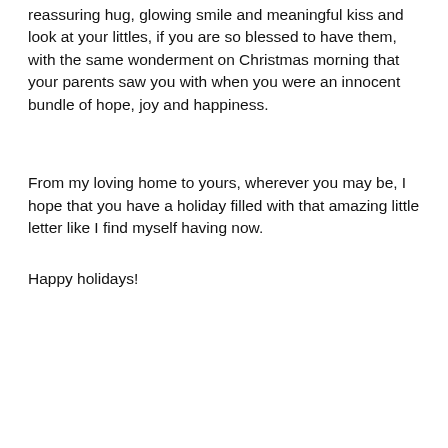reassuring hug, glowing smile and meaningful kiss and look at your littles, if you are so blessed to have them, with the same wonderment on Christmas morning that your parents saw you with when you were an innocent bundle of hope, joy and happiness.
From my loving home to yours, wherever you may be, I hope that you have a holiday filled with that amazing little letter like I find myself having now.
Happy holidays!